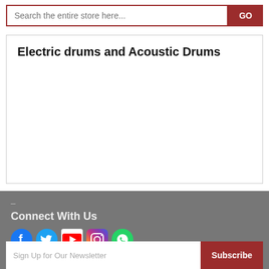Search the entire store here...
Electric drums and Acoustic Drums
–
Connect With Us
[Figure (infographic): Social media icons: Facebook, Twitter, YouTube, Instagram, WhatsApp]
Sign Up for Our Newsletter